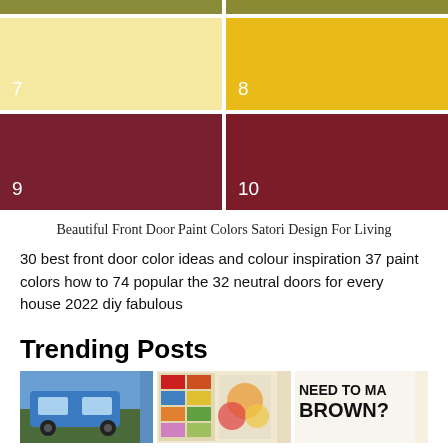[Figure (infographic): Color swatches grid showing paint color samples numbered 7, 8, 9, 10. Top row: two olive/khaki green strips. Second row: swatch 7 (pale yellow/cream) and swatch 8 (bright golden yellow). Third row: swatch 9 (dark burgundy/crimson) and swatch 10 (dark crimson).]
Beautiful Front Door Paint Colors Satori Design For Living
30 best front door color ideas and colour inspiration 37 paint colors how to 74 popular the 32 neutral doors for every house 2022 diy fabulous
Trending Posts
[Figure (photo): Three thumbnail images in a row: a blue Jeep vehicle, a color palette chart with food/fruits, and a sign reading 'NEED TO MAKE BROWN?']